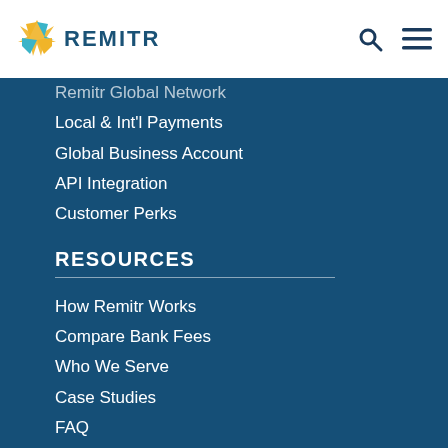REMITR
Remitr Global Network
Local & Int'l Payments
Global Business Account
API Integration
Customer Perks
RESOURCES
How Remitr Works
Compare Bank Fees
Who We Serve
Case Studies
FAQ
Blog
COMPANY
Our Story
Careers